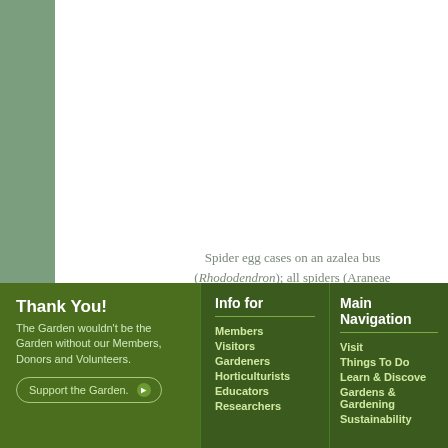[Figure (photo): Top white area showing spider egg cases content area, with green leafy background on left side]
Spider egg cases on an azalea bush (Rhododendron); all spiders (Araneae) are beneficial predators.
Thank You!
The Garden wouldn't be the Garden without our Members, Donors and Volunteers.
Support the Garden.
Info for
Members
Visitors
Gardeners
Horticulturists
Educators
Researchers
Main Navigation
Visit
Things To Do
Learn & Discover
Gardens & Gardening
Sustainability